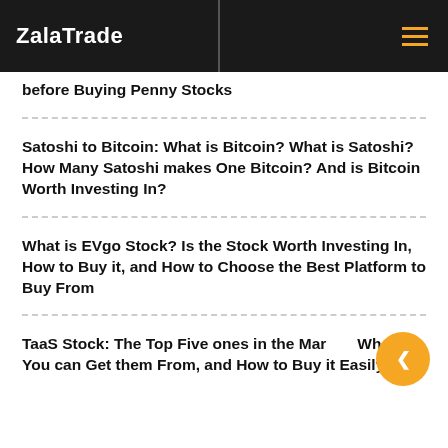ZalaTrade
before Buying Penny Stocks
Satoshi to Bitcoin: What is Bitcoin? What is Satoshi? How Many Satoshi makes One Bitcoin? And is Bitcoin Worth Investing In?
What is EVgo Stock? Is the Stock Worth Investing In, How to Buy it, and How to Choose the Best Platform to Buy From
TaaS Stock: The Top Five ones in the Market, Where You can Get them From, and How to Buy it Easily